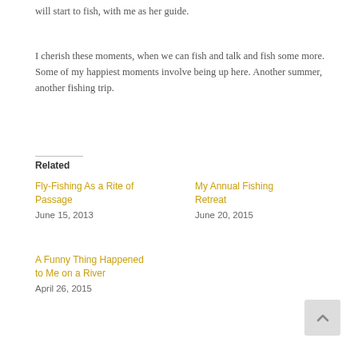will start to fish, with me as her guide.
I cherish these moments, when we can fish and talk and fish some more. Some of my happiest moments involve being up here. Another summer, another fishing trip.
Related
Fly-Fishing As a Rite of Passage
June 15, 2013
My Annual Fishing Retreat
June 20, 2015
A Funny Thing Happened to Me on a River
April 26, 2015